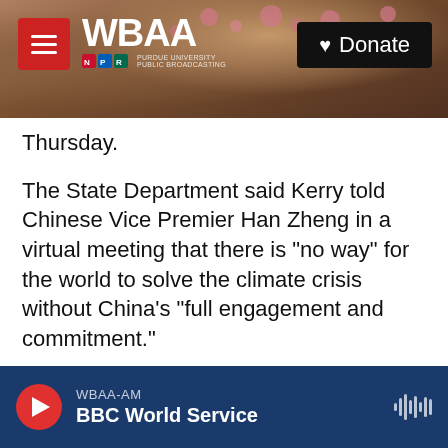[Figure (screenshot): WBAA radio website header with tree branch and cherry blossoms background, WBAA logo, hamburger menu button, and Donate button]
Thursday.
The State Department said Kerry told Chinese Vice Premier Han Zheng in a virtual meeting that there is "no way" for the world to solve the climate crisis without China's "full engagement and commitment."
China is the world's largest carbon emitter, producing an estimated 27% of global greenhouse gases, followed by the United States.
Kerry is in the eastern Chinese port city of Tianjin
WBAA-AM  BBC World Service